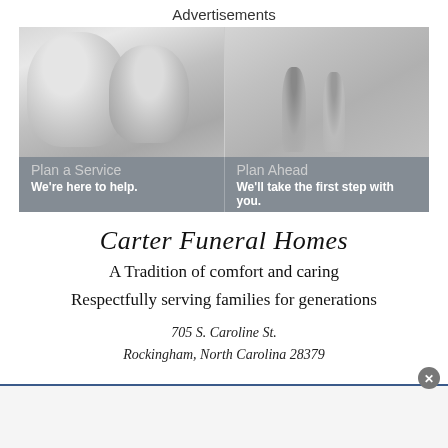Advertisements
[Figure (photo): Advertisement banner with two black-and-white photos: left shows a smiling middle-aged couple, right shows a couple walking hand-in-hand on a beach. Below the photos is a gray overlay with two panels: 'Plan a Service / We're here to help.' and 'Plan Ahead / We'll take the first step with you.']
Carter Funeral Homes
A Tradition of comfort and caring
Respectfully serving families for generations
705 S. Caroline St.
Rockingham, North Carolina 28379